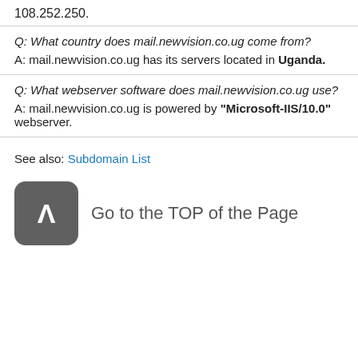108.252.250.
Q: What country does mail.newvision.co.ug come from?
A: mail.newvision.co.ug has its servers located in Uganda.
Q: What webserver software does mail.newvision.co.ug use?
A: mail.newvision.co.ug is powered by "Microsoft-IIS/10.0" webserver.
See also: Subdomain List
Go to the TOP of the Page